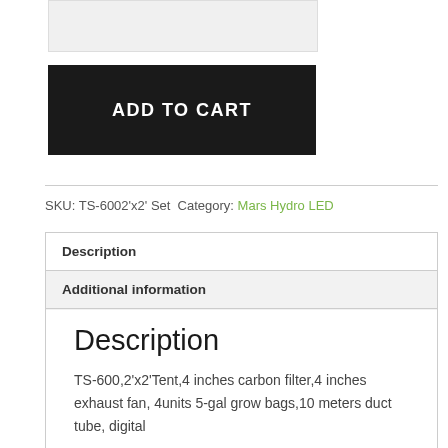ADD TO CART
SKU: TS-6002'x2' Set Category: Mars Hydro LED
Description
Additional information
Reviews (0)
Description
TS-600,2'x2'Tent,4 inches carbon filter,4 inches exhaust fan, 4units 5-gal grow bags,10 meters duct tube, digital